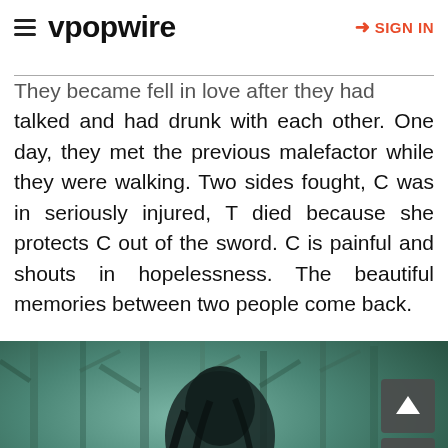vpopwire  SIGN IN
They became fell in love after they had talked and had drunk with each other. One day, they met the previous malefactor while they were walking. Two sides fought, C was in seriously injured, T died because she protects C out of the sword. C is painful and shouts in hopelessness. The beautiful memories between two people come back.
[Figure (photo): A person with dark hair in an outdoor forest/wooded setting with teal/green tones. Navigation up/down arrow buttons visible on the right side. Caption reads 'Read more'.]